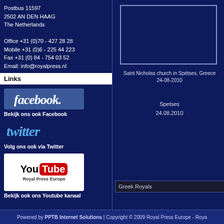Postbus 11597
2502 AN DEN HAAG
The Netherlands

Office +31 (0)70 - 427 28 28
Mobile +31 (0)6 - 225 44 223
Fax +31 (0) 84 - 754 03 52
Email: info@royalpress.nl
Links
[Figure (logo): Facebook logo button - blue rectangle with white italic facebook. text]
Bekijk ons ook Facebook
[Figure (logo): Twitter logo - cyan italic twitter text with bird styling]
Volg ons ook via Twitter
[Figure (logo): YouTube logo - white box with You Tube red pill button, Royal Press Europe text below]
Bekijk ook ons Youtube kanaal
[Figure (photo): Photo frame placeholder - Saint Nicholas church in Spetses Greece]
Saint Nicholas church in Spétses, Greece
24-08-2010
Spetses
24.08.2010
Greek Royals
Powered by PPTB Internet Solutions | Copyright © 2009 Royal Press Europe - Roya